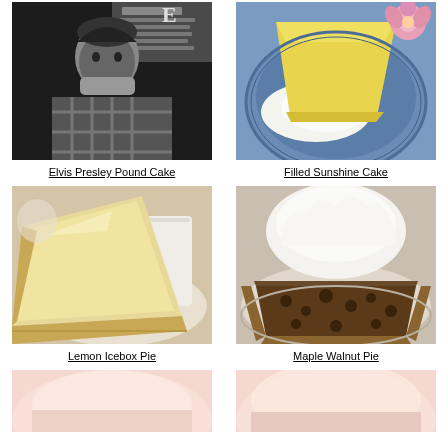[Figure (photo): Black and white photo of Elvis Presley eating, with text overlay]
Elvis Presley Pound Cake
[Figure (photo): Slice of yellow Filled Sunshine Cake on a blue plate with whipped cream and pink flower]
Filled Sunshine Cake
[Figure (photo): Slice of Lemon Icebox Pie with golden graham cracker crust on a plate]
Lemon Icebox Pie
[Figure (photo): Slice of Maple Walnut Pie topped with whipped cream on a plate]
Maple Walnut Pie
[Figure (photo): Partial view of a pink/light colored dessert - bottom row left]
[Figure (photo): Partial view of a pink/light colored dessert - bottom row right]